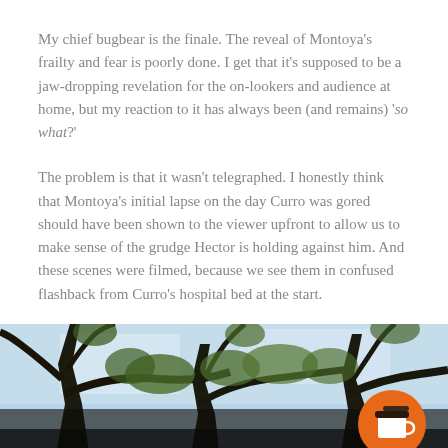My chief bugbear is the finale. The reveal of Montoya's frailty and fear is poorly done. I get that it's supposed to be a jaw-dropping revelation for the on-lookers and audience at home, but my reaction to it has always been (and remains) 'so what?'
The problem is that it wasn't telegraphed. I honestly think that Montoya's initial lapse on the day Curro was gored should have been shown to the viewer upfront to allow us to make sense of the grudge Hector is holding against him. And these scenes were filmed, because we see them in confused flashback from Curro's hospital bed at the start.
[Figure (photo): Dark silhouette of tree branches against a light sky, with green foliage visible. An orange circular coffee cup badge/button overlaid in the bottom-right corner.]